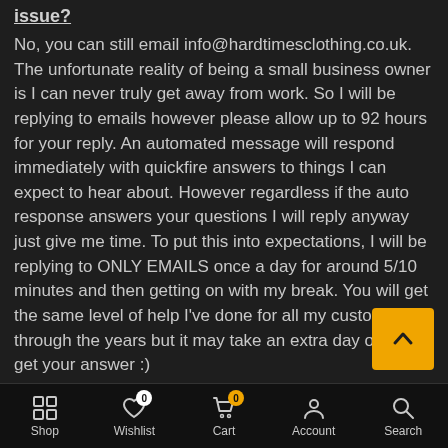issue?
No, you can still email info@hardtimesclothing.co.uk. The unfortunate reality of being a small business owner is I can never truly get away from work. So I will be replying to emails however please allow up to 92 hours for your reply. An automated message will respond immediately with quickfire answers to things I can expect to hear about. However regardless if the auto response answers your questions I will reply anyway just give me time. To put this into expectations, I will be replying to ONLY EMAILS once a day for around 5/10 minutes and then getting on with my break. You will get the same level of help I've done for all my customers through the years but it may take an extra day or two to get your answer :)
What about social media's? You still seem to be
Shop  Wishlist  Cart  Account  Search